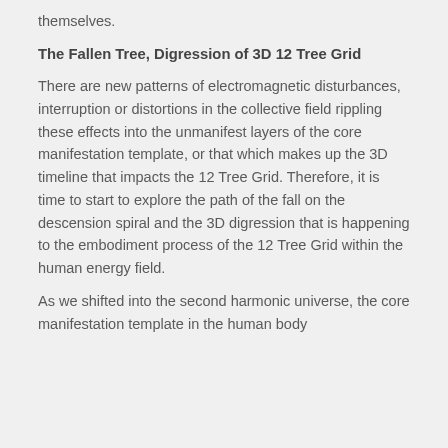themselves.
The Fallen Tree, Digression of 3D 12 Tree Grid
There are new patterns of electromagnetic disturbances, interruption or distortions in the collective field rippling these effects into the unmanifest layers of the core manifestation template, or that which makes up the 3D timeline that impacts the 12 Tree Grid. Therefore, it is time to start to explore the path of the fall on the descension spiral and the 3D digression that is happening to the embodiment process of the 12 Tree Grid within the human energy field.
As we shifted into the second harmonic universe, the core manifestation template in the human body